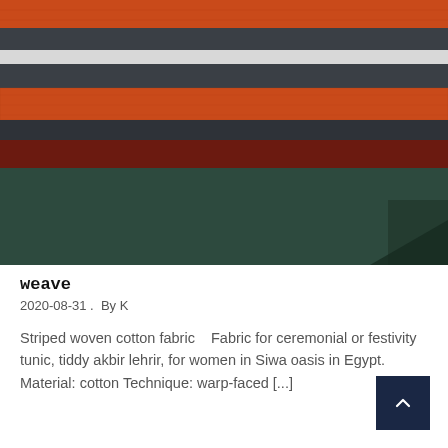[Figure (photo): Close-up photo of a striped woven cotton fabric with horizontal stripes in colors including orange, white, dark gray/charcoal, dark red/maroon, and dark green/teal.]
weave
2020-08-31 .  By K
Striped woven cotton fabric   Fabric for ceremonial or festivity tunic, tiddy akbir lehrir, for women in Siwa oasis in Egypt. Material: cotton Technique: warp-faced [...]